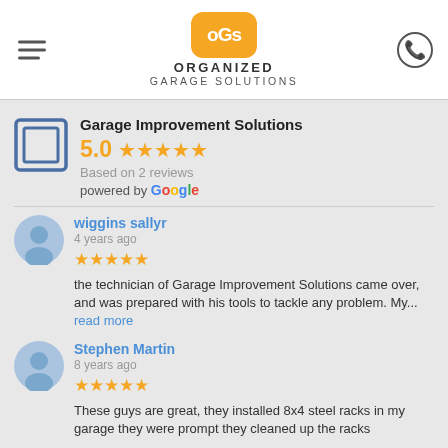Organized Garage Solutions - header with hamburger menu and phone icon
Garage Improvement Solutions
5.0 ★★★★★ Based on 2 reviews powered by Google
wiggins sallyr
4 years ago
★★★★★ the technician of Garage Improvement Solutions came over, and was prepared with his tools to tackle any problem. My... read more
Stephen Martin
8 years ago
★★★★★ These guys are great, they installed 8x4 steel racks in my garage they were prompt they cleaned up the racks